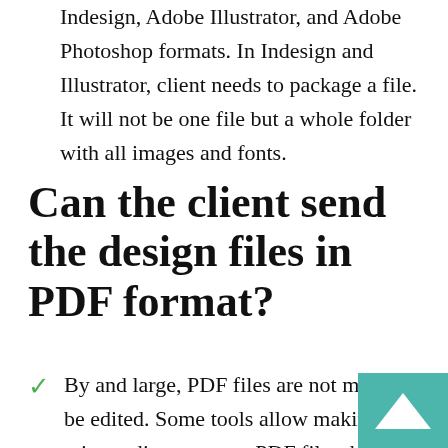Indesign, Adobe Illustrator, and Adobe Photoshop formats. In Indesign and Illustrator, client needs to package a file. It will not be one file but a whole folder with all images and fonts.
Can the client send the design files in PDF format?
By and large, PDF files are not meant to be edited. Some tools allow making minor adjustments to PDF files, but they are no